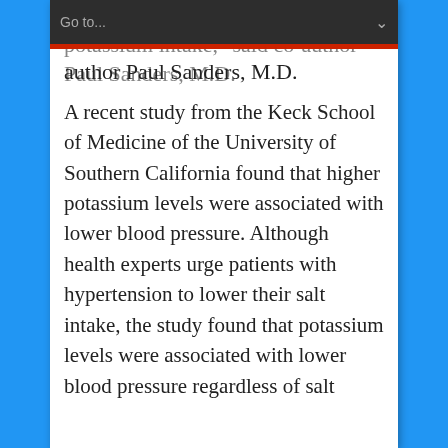Go to...
and the adverse effect of low potassium intake," said co-author Paul Sanders, M.D.
A recent study from the Keck School of Medicine of the University of Southern California found that higher potassium levels were associated with lower blood pressure. Although health experts urge patients with hypertension to lower their salt intake, the study found that potassium levels were associated with lower blood pressure regardless of salt